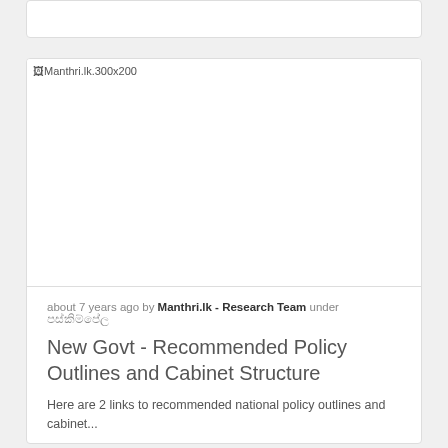[Figure (other): Broken image placeholder labeled Manthri.lk.300x200 inside a white card box]
about 7 years ago by Manthri.lk - Research Team under පස්කිම්පේල
New Govt - Recommended Policy Outlines and Cabinet Structure
Here are 2 links to recommended national policy outlines and cabinet...